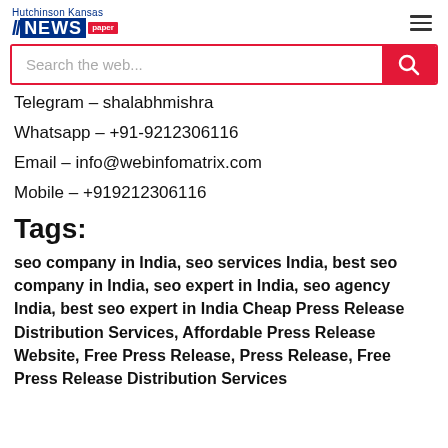Hutchinson Kansas NEWS paper
Telegram – shalabhmishra
Whatsapp – +91-9212306116
Email – info@webinfomatrix.com
Mobile – +919212306116
Tags:
seo company in India, seo services India, best seo company in India, seo expert in India, seo agency India, best seo expert in India Cheap Press Release Distribution Services, Affordable Press Release Website, Free Press Release, Press Release, Free Press Release Distribution Services